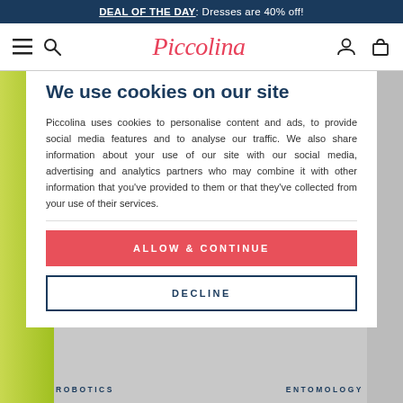DEAL OF THE DAY: Dresses are 40% off!
[Figure (screenshot): Piccolina e-commerce website navigation bar with hamburger menu, search icon, Piccolina logo in red cursive, user account icon, and shopping bag icon]
We use cookies on our site
Piccolina uses cookies to personalise content and ads, to provide social media features and to analyse our traffic. We also share information about your use of our site with our social media, advertising and analytics partners who may combine it with other information that you've provided to them or that they've collected from your use of their services.
ALLOW & CONTINUE
DECLINE